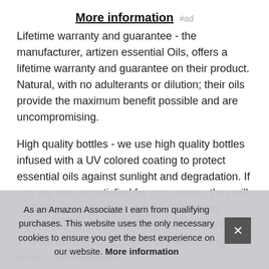More information #ad
Lifetime warranty and guarantee - the manufacturer, artizen essential Oils, offers a lifetime warranty and guarantee on their product. Natural, with no adulterants or dilution; their oils provide the maximum benefit possible and are uncompromising.
High quality bottles - we use high quality bottles infused with a UV colored coating to protect essential oils against sunlight and degradation. If you are ever unsatisfied for any reason, they will replace your product or refund your money. 3 pack citrus set - all containing 100% essential oil. The set includes 1oz bottles of sweet orange, lemon, and tangerine
As an Amazon Associate I earn from qualifying purchases. This website uses the only necessary cookies to ensure you get the best experience on our website. More information